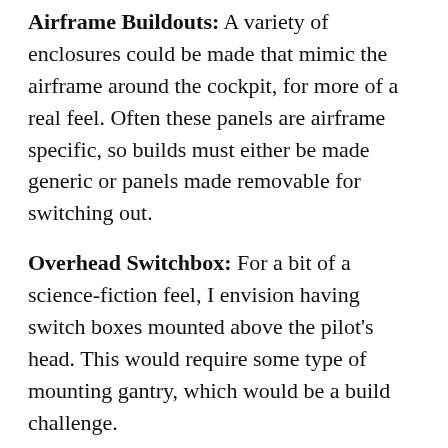Airframe Buildouts: A variety of enclosures could be made that mimic the airframe around the cockpit, for more of a real feel. Often these panels are airframe specific, so builds must either be made generic or panels made removable for switching out.
Overhead Switchbox: For a bit of a science-fiction feel, I envision having switch boxes mounted above the pilot's head. This would require some type of mounting gantry, which would be a build challenge.
Movement Platforms: Mounting Nimitz on a moving platform can provide physical feedback in a whole new way. Affordability is still an issue, but six degrees-of-freedom (6DOF) units like GForceFactory's Edge 6DOF are beginning to approach levels of consumer affordability.